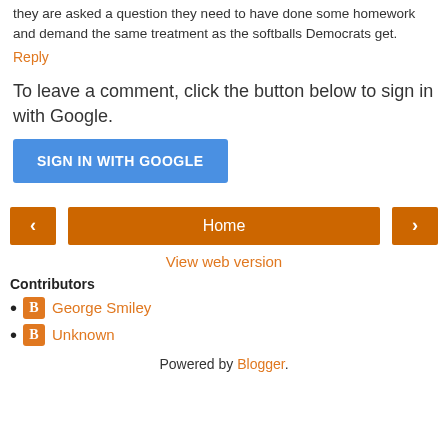they are asked a question they need to have done some homework and demand the same treatment as the softballs Democrats get.
Reply
To leave a comment, click the button below to sign in with Google.
SIGN IN WITH GOOGLE
Home
View web version
Contributors
George Smiley
Unknown
Powered by Blogger.